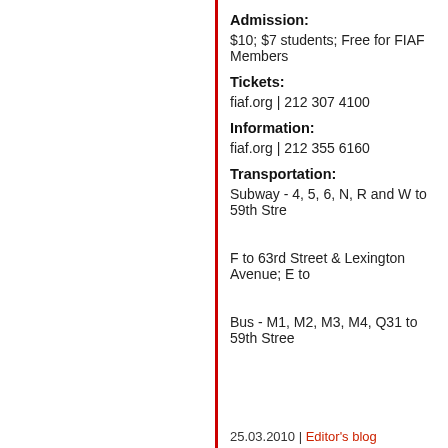Admission:
$10; $7 students; Free for FIAF Members
Tickets:
fiaf.org | 212 307 4100
Information:
fiaf.org | 212 355 6160
Transportation:
Subway - 4, 5, 6, N, R and W to 59th Stre
F to 63rd Street & Lexington Avenue; E to
Bus - M1, M2, M3, M4, Q31 to 59th Stree
25.03.2010 | Editor's blog